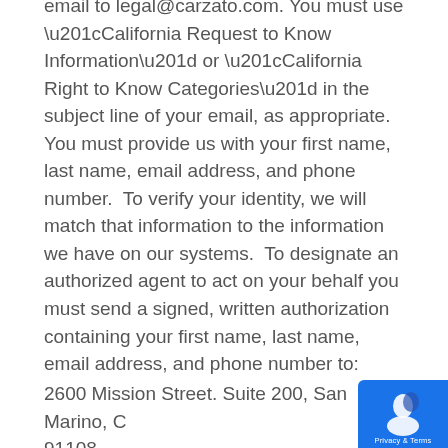email to legal@carzato.com. You must use “California Request to Know Information” or “California Right to Know Categories” in the subject line of your email, as appropriate. You must provide us with your first name, last name, email address, and phone number. To verify your identity, we will match that information to the information we have on our systems. To designate an authorized agent to act on your behalf you must send a signed, written authorization containing your first name, last name, email address, and phone number to:
2600 Mission Street. Suite 200, San Marino, CA 91108